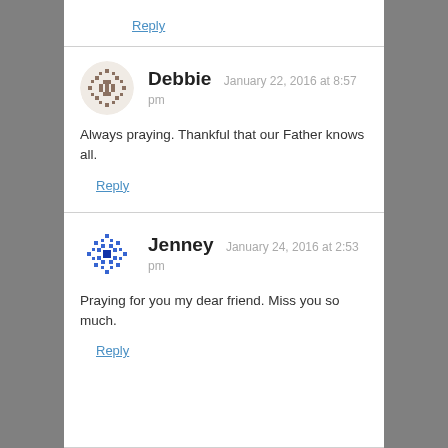Reply
Debbie   January 22, 2016 at 8:57 pm
Always praying. Thankful that our Father knows all.
Reply
Jenney   January 24, 2016 at 2:53 pm
Praying for you my dear friend. Miss you so much.
Reply